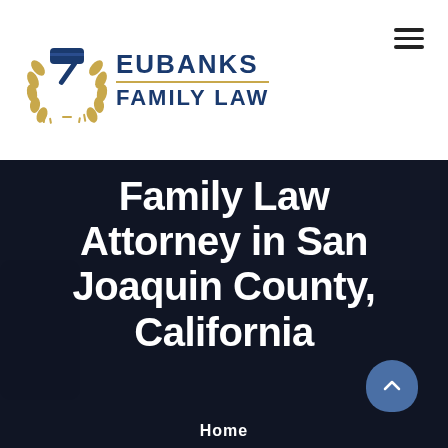[Figure (logo): Eubanks Family Law logo with gavel and laurel wreath icon, blue and gold color scheme]
Family Law Attorney in San Joaquin County, California
Home